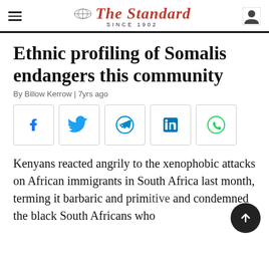The Standard SINCE 1902
Ethnic profiling of Somalis endangers this community
By Billow Kerrow | 7yrs ago
[Figure (other): Social share buttons: Facebook, Twitter, Telegram, LinkedIn, WhatsApp]
Kenyans reacted angrily to the xenophobic attacks on African immigrants in South Africa last month, terming it barbaric and prim... and condemned the black South Africans who ...killed and maimed their broth...